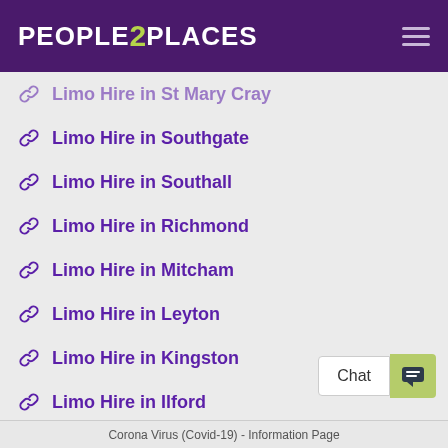PEOPLE 2 PLACES
Limo Hire in St Mary Cray
Limo Hire in Southgate
Limo Hire in Southall
Limo Hire in Richmond
Limo Hire in Mitcham
Limo Hire in Leyton
Limo Hire in Kingston
Limo Hire in Ilford
Limo Hire in Hornsey
Limo Hire in Hendon
Corona Virus (Covid-19) - Information Page